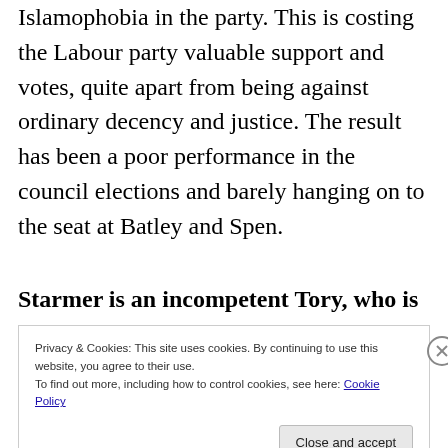Islamophobia in the party. This is costing the Labour party valuable support and votes, quite apart from being against ordinary decency and justice. The result has been a poor performance in the council elections and barely hanging on to the seat at Batley and Spen.
Starmer is an incompetent Tory, who is wrecking the party. But he and his fellow
Privacy & Cookies: This site uses cookies. By continuing to use this website, you agree to their use.
To find out more, including how to control cookies, see here: Cookie Policy